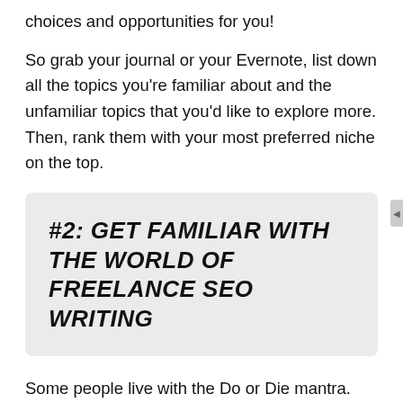choices and opportunities for you!
So grab your journal or your Evernote, list down all the topics you're familiar about and the unfamiliar topics that you'd like to explore more. Then, rank them with your most preferred niche on the top.
#2: GET FAMILIAR WITH THE WORLD OF FREELANCE SEO WRITING
Some people live with the Do or Die mantra. Although that's admirable, I recommend you ready